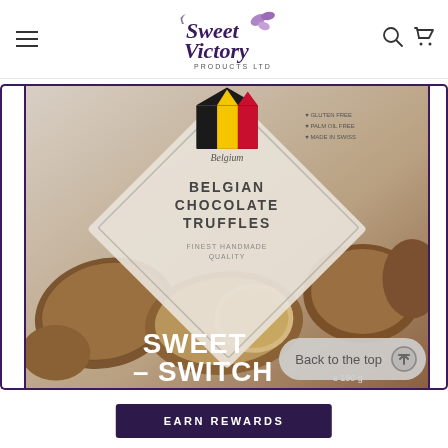Sweet Victory Products Ltd
[Figure (photo): Product packaging photo of Belgian Chocolate Truffles by Sweet Switch, 150g box with Belgian flag and product imagery. Gluten free, palm oil free, made in Switzerland claims. Text reads: Belgium, BELGIAN CHOCOLATE TRUFFLES, FINEST HANDMADE QUALITY, SWEET SWITCH, e 150 g]
Back to the top
EARN REWARDS